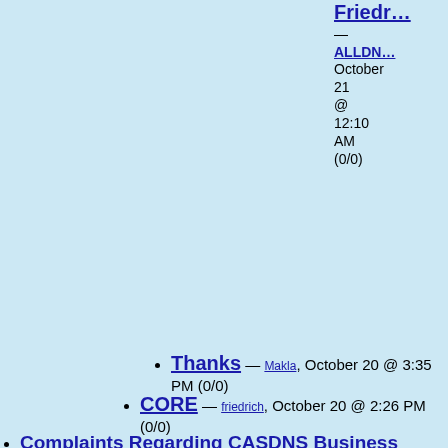Friedr... — (truncated, right column top)
ALLDN... October 21 @ 12:10 AM (0/0)
Thanks — Makla, October 20 @ 3:35 PM (0/0)
CORE — friedrich, October 20 @ 2:26 PM (0/0)
Complaints Regarding CASDNS Business Practices Requested — ALLDNS, October 20 @ 9:00 AM (0/0)
Complaints Regarding CORE & ASS Business Practices Requested — ALLDNS, October 20 @ 8:48 AM (0/0)
Afilias:Competition and Ken Stubbs — Merlin, October 20 @ 8:26 AM (1/7)
Blatent Lies Here — global view, October 20 @ 11:45 AM (6/6)
Ken Stubbs affiliations per Ken Stubbs — IODSupporter, October 20 @ 3:58 PM (0/0)
Global View - Flim Flam Artist —